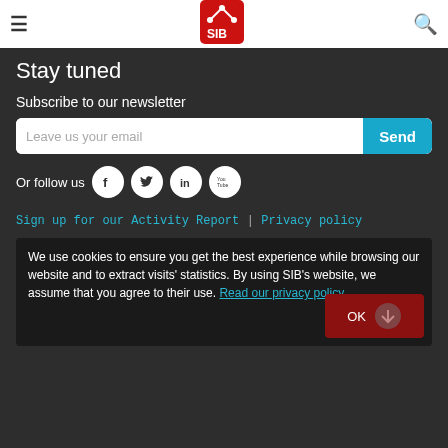[Figure (logo): SIB Swiss Institute of Bioinformatics logo, red square with white SIB text and molecular diagram]
Stay tuned
Subscribe to our newsletter
Leave us your email
Or follow us
Sign up for our Activity Report  |  Privacy policy
We use cookies to ensure you get the best experience while browsing our website and to extract visits' statistics. By using SIB's website, we assume that you agree to their use. Read our privacy policy.